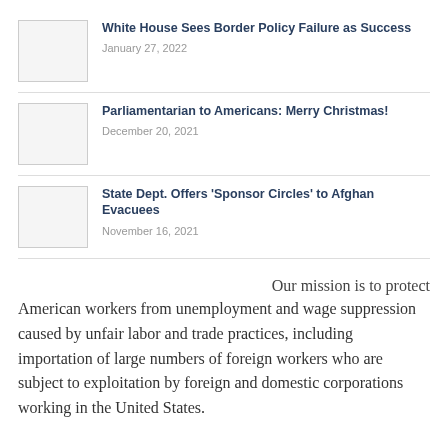White House Sees Border Policy Failure as Success — January 27, 2022
Parliamentarian to Americans: Merry Christmas! — December 20, 2021
State Dept. Offers 'Sponsor Circles' to Afghan Evacuees — November 16, 2021
Our mission is to protect American workers from unemployment and wage suppression caused by unfair labor and trade practices, including importation of large numbers of foreign workers who are subject to exploitation by foreign and domestic corporations working in the United States.